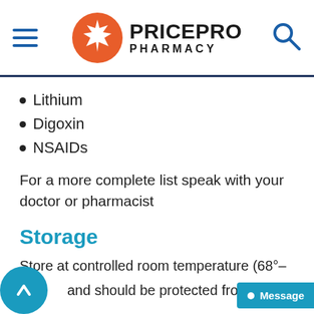[Figure (logo): PricePro Pharmacy logo with orange maple leaf circle and bold text]
Lithium
Digoxin
NSAIDs
For a more complete list speak with your doctor or pharmacist
Storage
Store at controlled room temperature (68°– and should be protected from m